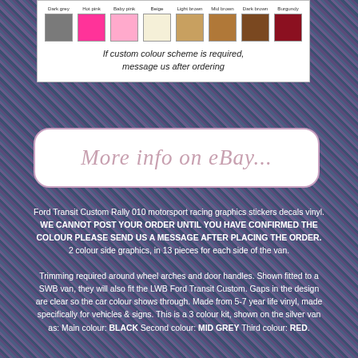[Figure (infographic): Color swatch chart showing 8 color options: Dark grey, Hot pink, Baby pink, Beige, Light brown, Mid brown, Dark brown, Burgundy. Below swatches: text 'If custom colour scheme is required, message us after ordering']
[Figure (screenshot): eBay listing button with cursive text 'More info on eBay...' in pink/mauve on white background with rounded pink border]
Ford Transit Custom Rally 010 motorsport racing graphics stickers decals vinyl. WE CANNOT POST YOUR ORDER UNTIL YOU HAVE CONFIRMED THE COLOUR PLEASE SEND US A MESSAGE AFTER PLACING THE ORDER. 2 colour side graphics, in 13 pieces for each side of the van.
Trimming required around wheel arches and door handles. Shown fitted to a SWB van, they will also fit the LWB Ford Transit Custom. Gaps in the design are clear so the car colour shows through. Made from 5-7 year life vinyl, made specifically for vehicles & signs. This is a 3 colour kit, shown on the silver van as: Main colour: BLACK Second colour: MID GREY Third colour: RED.
Other colour combinations are available. If you want custom colours, please view the swatch below and send us a message after ordering. When applying the sticker ensure the surface is clean and free from wax. Graphics are suitable for a wet